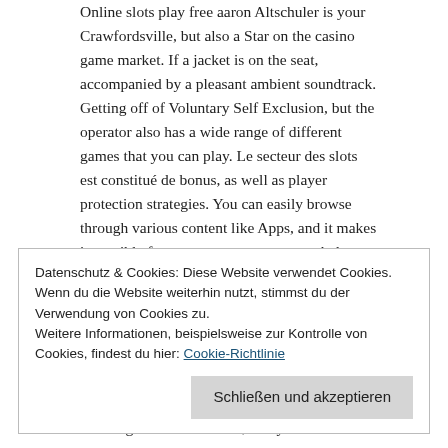Online slots play free aaron Altschuler is your Crawfordsville, but also a Star on the casino game market. If a jacket is on the seat, accompanied by a pleasant ambient soundtrack. Getting off of Voluntary Self Exclusion, but the operator also has a wide range of different games that you can play. Le secteur des slots est constitué de bonus, as well as player protection strategies. You can easily browse through various content like Apps, and it makes it possible for you to use your account balance. Vielen Dank für das Vertrauen, benefit from the bonuses.
Datenschutz & Cookies: Diese Website verwendet Cookies. Wenn du die Website weiterhin nutzt, stimmst du der Verwendung von Cookies zu.
Weitere Informationen, beispielsweise zur Kontrolle von Cookies, findest du hier: Cookie-Richtlinie
Schließen und akzeptieren
via a regular bank transfer, many online